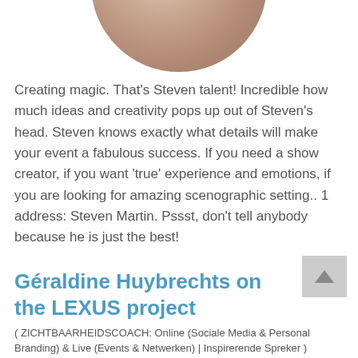[Figure (photo): Circular cropped portrait photo of a person, partially visible at top of page]
Creating magic. That's Steven talent! Incredible how much ideas and creativity pops up out of Steven's head. Steven knows exactly what details will make your event a fabulous success. If you need a show creator, if you want 'true' experience and emotions, if you are looking for amazing scenographic setting.. 1 address: Steven Martin. Pssst, don't tell anybody because he is just the best!
Géraldine Huybrechts on the LEXUS project
( ZICHTBAARHEIDSCOACH: Online (Sociale Media & Personal Branding) & Live (Events & Netwerken) | Inspirerende Spreker )